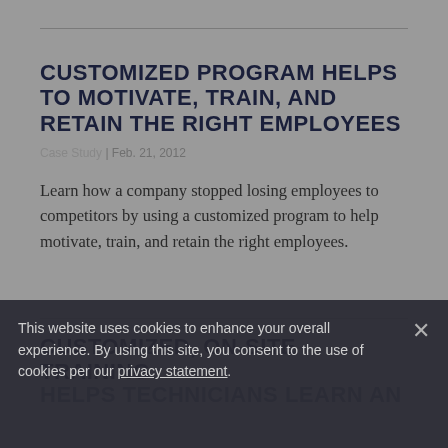CUSTOMIZED PROGRAM HELPS TO MOTIVATE, TRAIN, AND RETAIN THE RIGHT EMPLOYEES
Case Study | Feb. 21, 2012
Learn how a company stopped losing employees to competitors by using a customized program to help motivate, train, and retain the right employees.
CUSTOMIZED, ON-SITE TRAINING HELPS TECHNICIANS LEARN AN...
This website uses cookies to enhance your overall experience. By using this site, you consent to the use of cookies per our privacy statement.